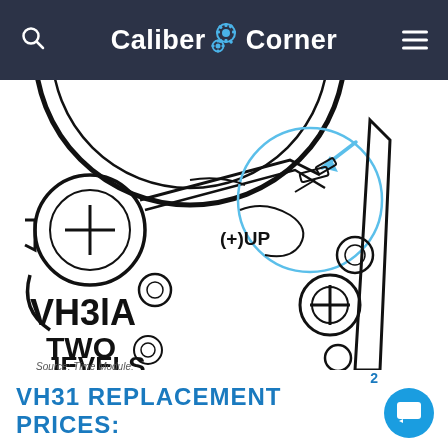Caliber Corner
[Figure (engineering-diagram): Technical line drawing of a watch movement (VH31A caliber), showing gears, screws, springs and other internal components. A blue circle highlights a specific part with a blue arrow pointing to it. The diagram includes labels: (+)UP, VH31A, TWO, and partial text JEVELS. A caption reads 'Source: Time Module'.]
Source: Time Module
VH31 REPLACEMENT PRICES: